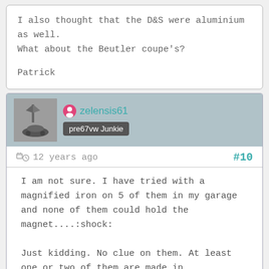I also thought that the D&S were aluminium as well.
What about the Beutler coupe's?

Patrick
zelensis61
pre67vw Junkie
12 years ago  #10
I am not sure. I have tried with a magnified iron on 5 of them in my garage and none of them could hold the magnet....:shock:

Just kidding. No clue on them. At least one or two of them are made in iron.....the pick-ups.